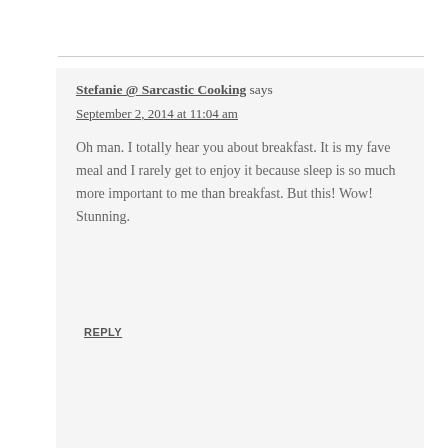Stefanie @ Sarcastic Cooking says
September 2, 2014 at 11:04 am
Oh man. I totally hear you about breakfast. It is my fave meal and I rarely get to enjoy it because sleep is so much more important to me than breakfast. But this! Wow! Stunning.
REPLY
[Figure (screenshot): Heart/like button circle icon in teal]
1
[Figure (screenshot): Share button circle icon]
WHAT'S NEXT → Blueberry Cream Pie
Cindy says
[Figure (screenshot): Advertisement bar with Smoothie King logo, dine-in/curbside pickup/delivery info, navigation icon]